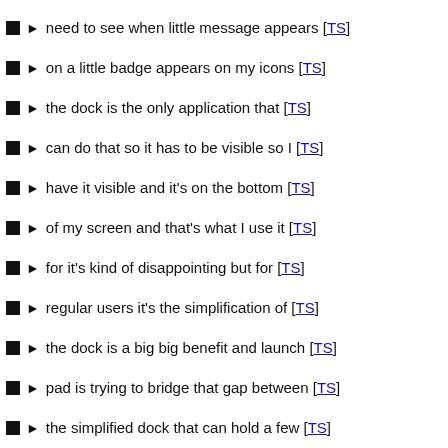need to see when little message appears [TS]
on a little badge appears on my icons [TS]
the dock is the only application that [TS]
can do that so it has to be visible so I [TS]
have it visible and it's on the bottom [TS]
of my screen and that's what I use it [TS]
for it's kind of disappointing but for [TS]
regular users it's the simplification of [TS]
the dock is a big big benefit and launch [TS]
pad is trying to bridge that gap between [TS]
the simplified dock that can hold a few [TS]
icons that you use a lot and the sorry [TS]